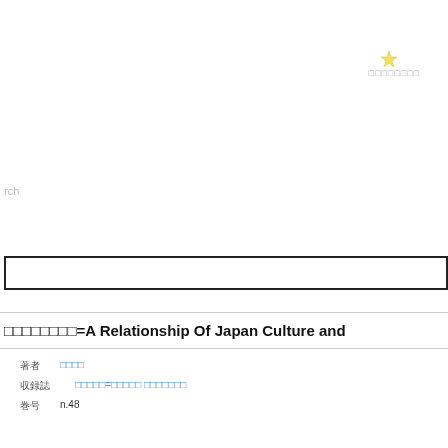[Figure (other): Small yellow star icon in upper right area]
□□□□□□□□
rch
□□□□□□□□=A Relationship Of Japan Culture and
| 著者 | □□□□ |
| 収録誌 | □□□□□=□□□□□ □□□□□□□ |
| 巻号 | n.48 |